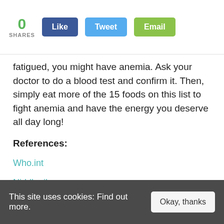0 SHARES | Like | Tweet | Email
fatigued, you might have anemia. Ask your doctor to do a blood test and confirm it. Then, simply eat more of the 15 foods on this list to fight anemia and have the energy you deserve all day long!
References:
Who.int
Niddk.nih.gov
Cat.inist.fr
This site uses cookies: Find out more. | Okay, thanks